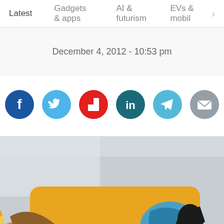Latest | Gadgets & apps | AI & futurism | EVs & mobil >
December 4, 2012 - 10:53 pm
[Figure (infographic): Row of six social share buttons: Facebook (dark blue circle with white F), Twitter (light blue circle with white bird), Flipboard (red circle with white F), LinkedIn (dark teal circle with white 'in'), Telegram (light blue circle with white paper plane), Email (gray circle with white envelope)]
[Figure (photo): Person wearing a yellow t-shirt with a dragon graphic, holding a pencil, apparently writing or drawing. Classroom or similar setting visible in the background.]